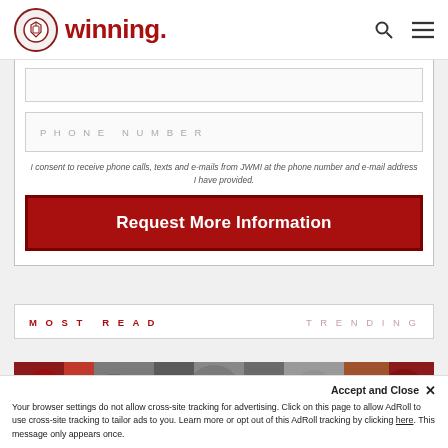winning.
PHONE NUMBER
I consent to receive phone calls, texts and e-mails from JWMI at the phone number and e-mail address I have provided.
Request More Information
MOST READ   TRENDING
[Figure (photo): Horizontal photo strip showing people at a sports or educational event]
Accept and Close ✕ Your browser settings do not allow cross-site tracking for advertising. Click on this page to allow AdRoll to use cross-site tracking to tailor ads to you. Learn more or opt out of this AdRoll tracking by clicking here. This message only appears once.